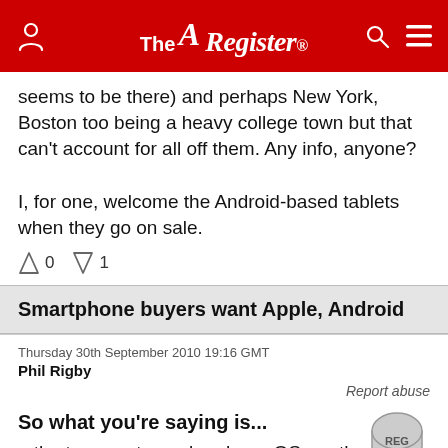The Register
seems to be there) and perhaps New York, Boston too being a heavy college town but that can't account for all off them. Any info, anyone?

I, for one, welcome the Android-based tablets when they go on sale.
↑0 ↓1
Smartphone buyers want Apple, Android
Thursday 30th September 2010 19:16 GMT
Phil Rigby
Report abuse
So what you're saying is...
[Figure (illustration): Tombstone with REG text and green plants at base]
...the two most popular phone OS are the two leading choices for consumers?
In other news, the #1 song in the Top 40 this week was...